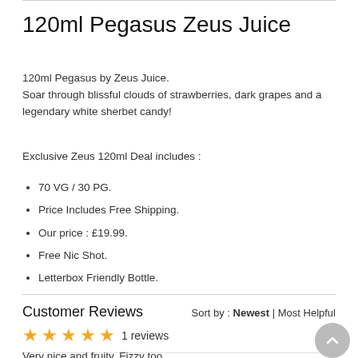120ml Pegasus Zeus Juice
120ml Pegasus by Zeus Juice.
Soar through blissful clouds of strawberries, dark grapes and a legendary white sherbet candy!
Exclusive Zeus 120ml Deal includes :
70 VG / 30 PG.
Price Includes Free Shipping.
Our price : £19.99.
Free Nic Shot.
Letterbox Friendly Bottle.
Customer Reviews
Sort by : Newest | Most Helpful
★★★★★ 1 reviews
Kyle Palmer    08/07/2022
Very nice and fruity. Fizzy too.